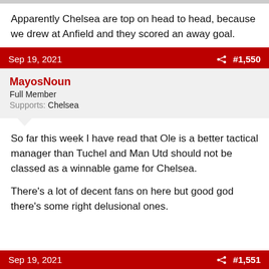Apparently Chelsea are top on head to head, because we drew at Anfield and they scored an away goal.
Sep 19, 2021  #1,550
MayosNoun
Full Member
Supports: Chelsea
So far this week I have read that Ole is a better tactical manager than Tuchel and Man Utd should not be classed as a winnable game for Chelsea.

There’s a lot of decent fans on here but good god there’s some right delusional ones.
Sep 19, 2021  #1,551